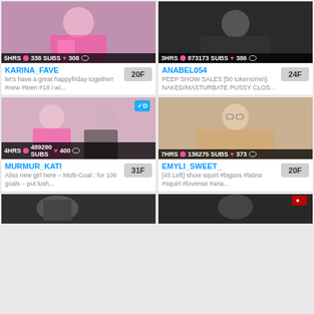[Figure (screenshot): Livestream thumbnail for KARINA_FAVE showing woman in pink, stats: 5HRS, 338 SUBS, 308]
KARINA_FAVE
let's have a great happyfriday together! #new #teen #18 i wi...
20F
[Figure (screenshot): Livestream thumbnail for ANABEL054 showing dark background, stats: 3HRS, 873173 SUBS, 386]
ANABEL054
PEEP SHOW SALES [50 tokens/min]: NAKED/MASTURBATE PUSSY CLOS...
24F
[Figure (screenshot): Livestream thumbnail for MURMUR_KATI showing two women, stats: 4HRS, 489290 SUBS, 400]
MURMUR_KATI
Aliss new girl here – Multi-Goal : for 100 goals – put lush...
31F
[Figure (screenshot): Livestream thumbnail for EMYLI_SWEET_ showing woman, stats: 7HRS, 136275 SUBS, 373]
EMYLI_SWEET_
[45 Left] show squirt #bigass #latina #squirt #lovense #ana...
20F
[Figure (screenshot): Partial thumbnail bottom-left, dark tones]
[Figure (screenshot): Partial thumbnail bottom-right, dark tones]